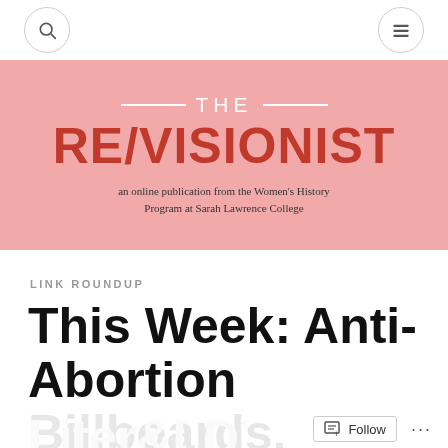[Figure (logo): The Re/Visionist logo on pink banner — an online publication from the Women's History Program at Sarah Lawrence College]
LINK ROUNDUP
This Week: Anti-Abortion Billboards,